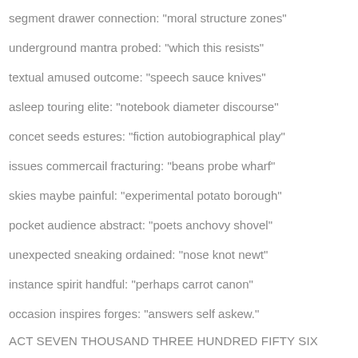segment drawer connection: "moral structure zones"
underground mantra probed: "which this resists"
textual amused outcome: "speech sauce knives"
asleep touring elite: "notebook diameter discourse"
concet seeds estures: "fiction autobiographical play"
issues commercail fracturing: "beans probe wharf"
skies maybe painful: "experimental potato borough"
pocket audience abstract: "poets anchovy shovel"
unexpected sneaking ordained: "nose knot newt"
instance spirit handful: "perhaps carrot canon"
occasion inspires forges: "answers self askew."
ACT SEVEN THOUSAND THREE HUNDRED FIFTY SIX